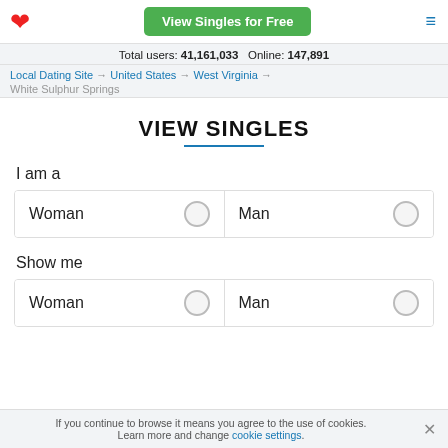View Singles for Free
Total users: 41,161,033   Online: 147,891
Local Dating Site → United States → West Virginia → White Sulphur Springs
VIEW SINGLES
I am a
Woman   Man
Show me
Woman   Man
If you continue to browse it means you agree to the use of cookies. Learn more and change cookie settings.